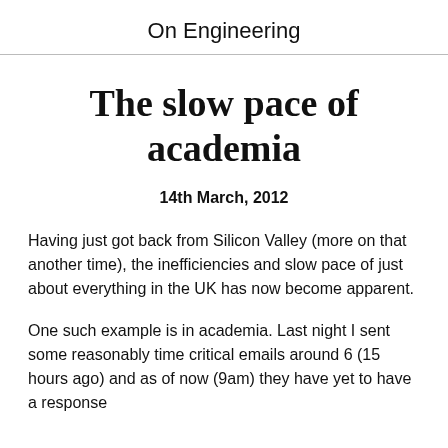On Engineering
The slow pace of academia
14th March, 2012
Having just got back from Silicon Valley (more on that another time), the inefficiencies and slow pace of just about everything in the UK has now become apparent.
One such example is in academia. Last night I sent some reasonably time critical emails around 6 (15 hours ago) and as of now (9am) they have yet to have a response